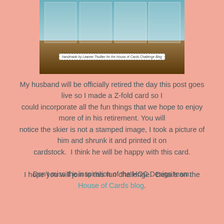[Figure (photo): Photo of handmade cards displayed on a wood slice, with a small label reading 'handmade by Leanne Thulber for the House of Cards Challenge Blog']
My husband will be officially retired the day this post goes live so I made a Z-fold card so I could incorporate all the fun things that we hope to enjoy more of in his retirement. You will notice the skier is not a stamped image, I took a picture of him and shrunk it and printed it on cardstock.  I think he will be happy with this card.

I hope you will join in this fun challenge.  Details on the House of Cards blog.
Don't miss the inspiration of the HOC Design team:
Cohenna | Donna | Em | Jane | Judy/ Karen | Katarina Michele | Rocky | Rosi Shawna | Sue N. | Susan